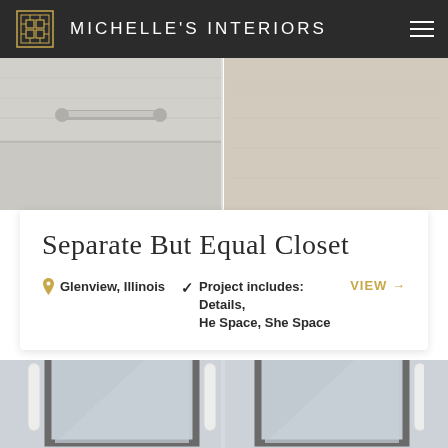MICHELLE'S INTERIORS
[Figure (photo): Two close-up interior design photos side by side: left shows a drawer with a bar pull handle on a light wood surface, right shows a beige/cream textured carpet or fabric surface]
Separate But Equal Closet
Glenview, Illinois   ✓  Project includes: Details, He Space, She Space   VIEW →
[Figure (photo): Two bathroom mirrors with dark frames and vertical tube sconces mounted on a light blue/gray wall, partially visible at bottom of page]